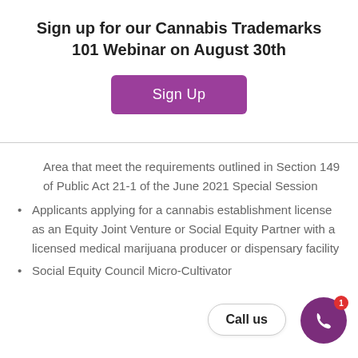Sign up for our Cannabis Trademarks 101 Webinar on August 30th
[Figure (other): Purple 'Sign Up' button for webinar registration]
Area that meet the requirements outlined in Section 149 of Public Act 21-1 of the June 2021 Special Session
Applicants applying for a cannabis establishment license as an Equity Joint Venture or Social Equity Partner with a licensed medical marijuana producer or dispensary facility
Social Equity Council Micro-Cultivator